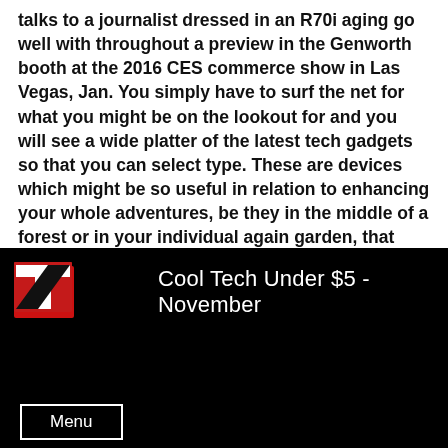talks to a journalist dressed in an R70i aging go well with throughout a preview in the Genworth booth at the 2016 CES commerce show in Las Vegas, Jan. You simply have to surf the net for what you might be on the lookout for and you will see a wide platter of the latest tech gadgets so that you can select type. These are devices which might be so useful in relation to enhancing your whole adventures, be they in the middle of a forest or in your individual again garden, that you’re going to question why on Earth you hadn’t taken the plunge and purchased them sooner.
[Figure (screenshot): A YouTube video thumbnail/player with a dark background. A red TS (TechSource) logo appears top-left followed by the title 'Cool Tech Under $5 - November' in white text. A white-bordered 'Menu' button appears in the bottom-left.]